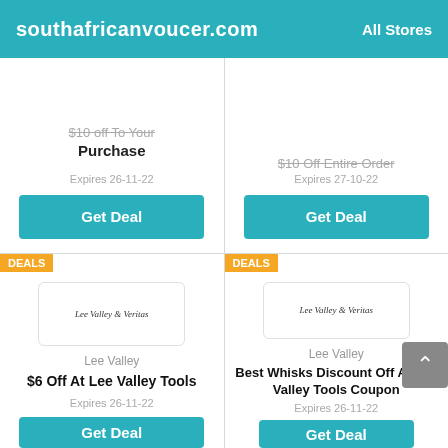southafricanvoucer.com   All Stores
$10 off To Your Purchase
Expires 26-11-22
Get Deal
$10 Off Entire Order
Expires 27-10-22
Get Deal
DEALS
[Figure (logo): Lee Valley & Veritas store logo]
Lee Valley
$6 Off At Lee Valley Tools
Expires 26-11-22
Get Deal
DEALS
[Figure (logo): Lee Valley & Veritas store logo]
Lee Valley
Best Whisks Discount Off At Lee Valley Tools Coupon
Expires 26-11-22
Get Deal